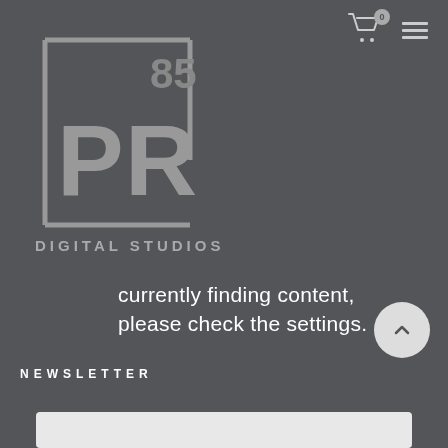[Figure (logo): PR85 Digital Studios logo — stylized PR letters inside a square bracket outline with '85' superscript, in grey on dark background]
DIGITAL STUDIOS
currently finding content, please check the settings.
NEWSLETTER